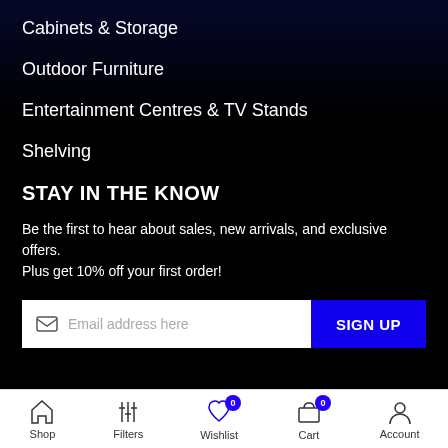Cabinets & Storage
Outdoor Furniture
Entertainment Centres & TV Stands
Shelving
STAY IN THE KNOW
Be the first to hear about sales, new arrivals, and exclusive offers. Plus get 10% off your first order!
Email address here | SIGN UP
Shop | Filters | Wishlist 0 | Cart 0 | Account